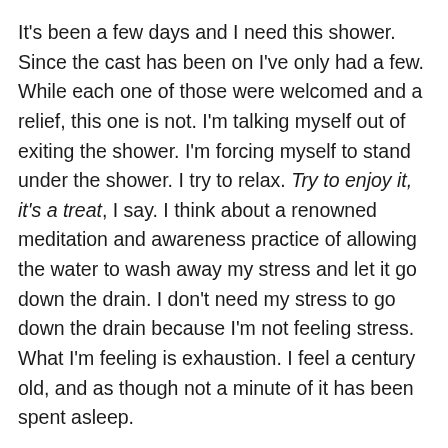It's been a few days and I need this shower. Since the cast has been on I've only had a few. While each one of those were welcomed and a relief, this one is not. I'm talking myself out of exiting the shower. I'm forcing myself to stand under the shower. I try to relax. Try to enjoy it, it's a treat, I say. I think about a renowned meditation and awareness practice of allowing the water to wash away my stress and let it go down the drain. I don't need my stress to go down the drain because I'm not feeling stress. What I'm feeling is exhaustion. I feel a century old, and as though not a minute of it has been spent asleep.
But I have slept. I've slept a lot. My body is healing.
I don't want to but I make myself take soap to my skin. The soap feels like it's 20 pounds heavy. I feel as though I'm